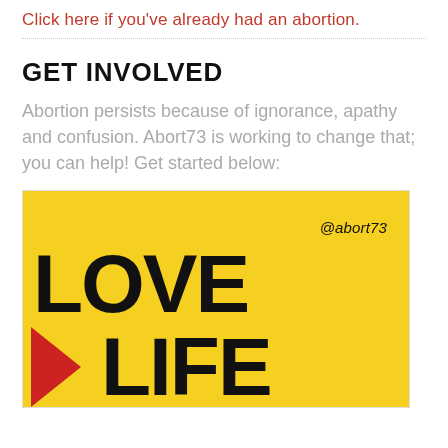Click here if you've already had an abortion.
GET INVOLVED
Abortion persists because of ignorance, apathy and confusion. Abort73 is working to change that; you can help! Get started below:
[Figure (illustration): Yellow background promotional image with bold black text reading 'LOVE' on top and '>LIFE' on the bottom with a red chevron/greater-than symbol, and '@abort73' in italic text in the upper right corner.]